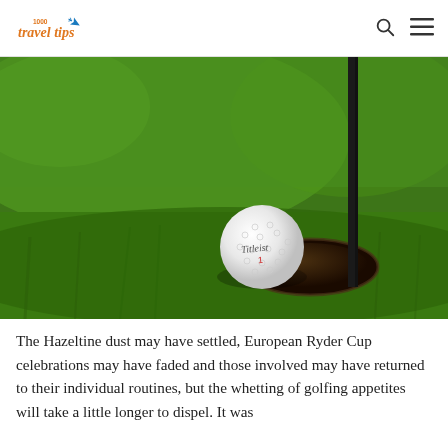1000 Travel Tips
[Figure (photo): Close-up photograph of a white Titleist golf ball resting on green grass next to a golf hole, with a black flag pole inserted in the hole.]
The Hazeltine dust may have settled, European Ryder Cup celebrations may have faded and those involved may have returned to their individual routines, but the whetting of golfing appetites will take a little longer to dispel. It was